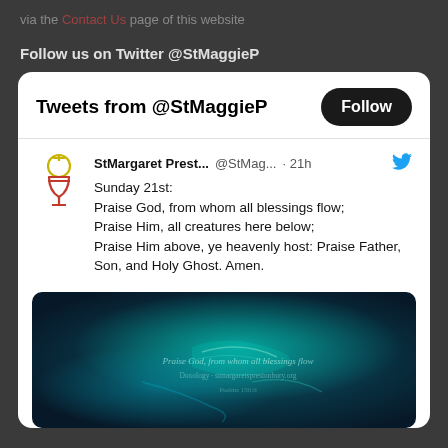via the Contact Us page of this website
Follow us on Twitter @StMaggieP
[Figure (screenshot): Twitter widget showing tweet from @StMaggieP account with text: Sunday 21st: Praise God, from whom all blessings flow; Praise Him, all creatures here below; Praise Him above, ye heavenly host: Praise Father, Son, and Holy Ghost. Amen. With a teal/dark glowing image attached.]